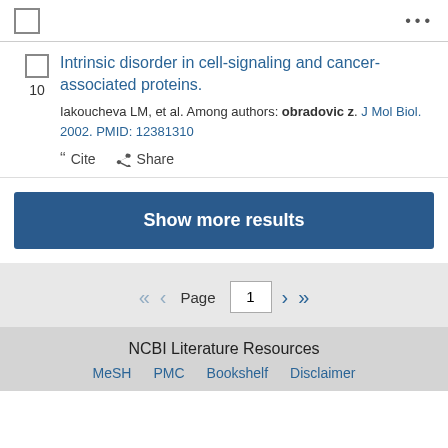...
Intrinsic disorder in cell-signaling and cancer-associated proteins.
Iakoucheva LM, et al. Among authors: obradovic z. J Mol Biol. 2002. PMID: 12381310
Cite Share
Show more results
Page 1
NCBI Literature Resources MeSH PMC Bookshelf Disclaimer